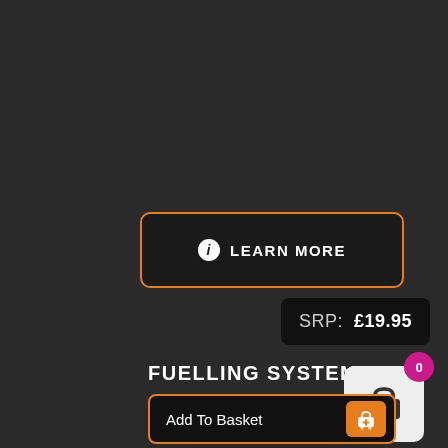[Figure (screenshot): Dark background UI page with an orange-bordered 'Learn More' button with info icon, an SRP price box showing £19.95, a product title 'FUELLING SYSTEM PACK', a shopping cart icon with magenta badge showing 0, and an 'Add To Basket' button at the bottom]
ℹ LEARN MORE
SRP:  £19.95
FUELLING SYSTEM PACK
0
Add To Basket